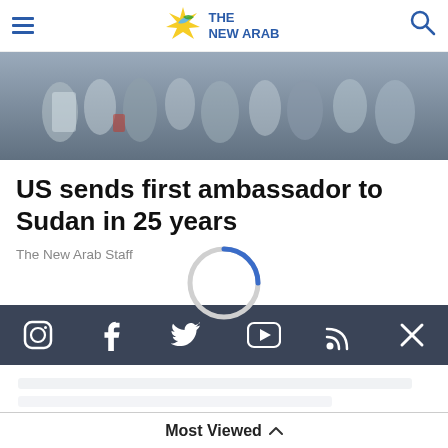The New Arab
[Figure (photo): Crowd of people walking, viewed from behind/side, outdoor daytime scene]
US sends first ambassador to Sudan in 25 years
The New Arab Staff
[Figure (other): Loading spinner / circular progress indicator, mostly grey with a blue arc at top]
[Figure (infographic): Social media icons bar on dark background: Instagram, Facebook, Twitter, YouTube, RSS, X]
Privacy Policy | Terms of Use | Sitemap
Most Viewed ▲